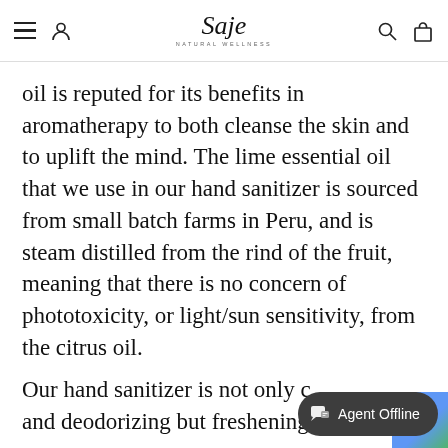Saje Natural Wellness — navigation header
oil is reputed for its benefits in aromatherapy to both cleanse the skin and to uplift the mind. The lime essential oil that we use in our hand sanitizer is sourced from small batch farms in Peru, and is steam distilled from the rind of the fruit, meaning that there is no concern of phototoxicity, or light/sun sensitivity, from the citrus oil.
Our hand sanitizer is not only c and deodorizing but freshening and